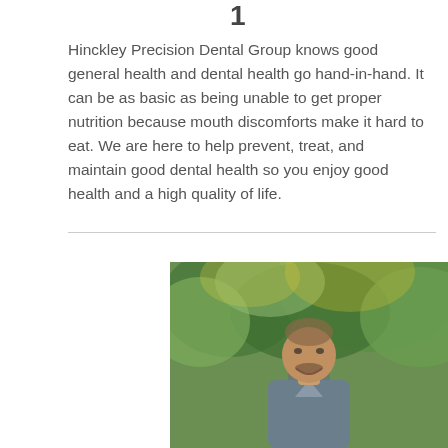1
Hinckley Precision Dental Group knows good general health and dental health go hand-in-hand. It can be as basic as being unable to get proper nutrition because mouth discomforts make it hard to eat. We are here to help prevent, treat, and maintain good dental health so you enjoy good health and a high quality of life.
[Figure (photo): Portrait photo of a middle-aged man with a mustache, wearing blue-grey scrubs, smiling outdoors in front of green foliage. Likely a dental professional.]